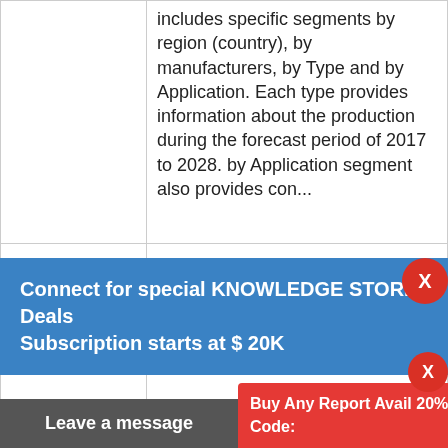includes specific segments by region (country), by manufacturers, by Type and by Application. Each type provides information about the production during the forecast period of 2017 to 2028. by Application segment also provides con...
Connect for special KNOWLEDGE STORE Deals
Subscription starts at $ 20K
Questions on this Report?
| TITLE |  |
| --- | --- |
| TITLE | Global Wind Turbine Piston Accumulators Market Research |
Buy Any Report Avail 20% Code:
Leave a message